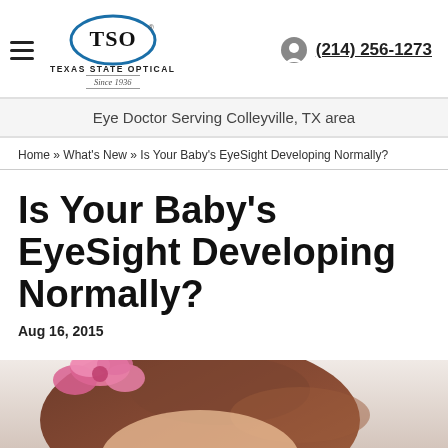[Figure (logo): TSO Texas State Optical logo with oval shape and 'Since 1936' tagline]
(214) 256-1273
Eye Doctor Serving Colleyville, TX area
Home » What's New » Is Your Baby's EyeSight Developing Normally?
Is Your Baby's EyeSight Developing Normally?
Aug 16, 2015
[Figure (photo): Close-up photo of a baby with a pink flower hair accessory, dark brown hair visible]